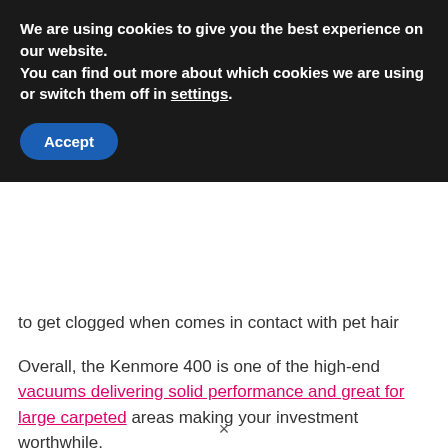We are using cookies to give you the best experience on our website.
You can find out more about which cookies we are using or switch them off in settings.
Accept
to get clogged when comes in contact with pet hair
Overall, the Kenmore 400 is one of the high-end vacuums delivering solid performance and great for large carpeted areas making your investment worthwhile.
Shop now at Amazon.com